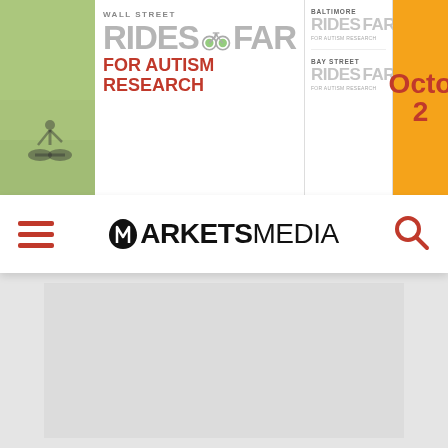[Figure (illustration): Banner advertisement for 'Wall Street Rides FAR for Autism Research', 'Baltimore Rides FAR', and 'Bay Street Rides FAR' events. Left section shows a cycling photo background. Center shows Wall Street Rides FAR logo in gray/red with bicycle icons. Right section shows sub-events Baltimore and Bay Street Rides FAR. Far right shows orange panel with partial date 'Octo 2...']
[Figure (logo): Markets Media logo with stylized 'M' icon followed by 'ARKETSMEDIA' text. Navigation bar with red hamburger menu on left, Markets Media logo in center, red search icon on right.]
[Figure (screenshot): Gray content area below navigation bar, appears to be a loading or empty article area.]